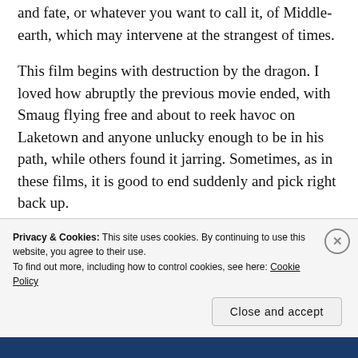and fate, or whatever you want to call it, of Middle-earth, which may intervene at the strangest of times.
This film begins with destruction by the dragon. I loved how abruptly the previous movie ended, with Smaug flying free and about to reek havoc on Laketown and anyone unlucky enough to be in his path, while others found it jarring. Sometimes, as in these films, it is good to end suddenly and pick right back up.
Privacy & Cookies: This site uses cookies. By continuing to use this website, you agree to their use.
To find out more, including how to control cookies, see here: Cookie Policy